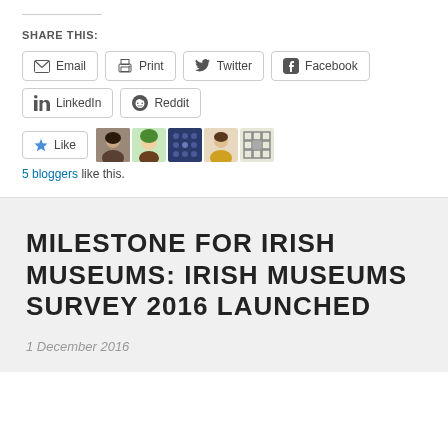SHARE THIS:
[Figure (screenshot): Social sharing buttons: Email, Print, Twitter, Facebook, LinkedIn, Reddit]
[Figure (screenshot): Like button and 5 blogger avatars]
5 bloggers like this.
MILESTONE FOR IRISH MUSEUMS: IRISH MUSEUMS SURVEY 2016 LAUNCHED
1 December 2016